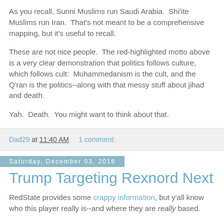As you recall, Sunni Muslims run Saudi Arabia.  Shi'ite Muslims run Iran.  That's not meant to be a comprehensive mapping, but it's useful to recall.
These are not nice people.  The red-highlighted motto above is a very clear demonstration that politics follows culture, which follows cult:  Muhammedanism is the cult, and the Q'ran is the politics--along with that messy stuff about jihad and death.
Yah.  Death.  You might want to think about that.
Dad29 at 11:40 AM    1 comment:
Saturday, December 03, 2016
Trump Targeting Rexnord Next
RedState provides some crappy information, but y'all know who this player really is--and where they are really based.